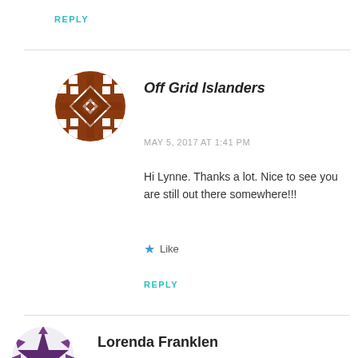REPLY
[Figure (illustration): Brown circular avatar with geometric quilt pattern in brown and white]
Off Grid Islanders
MAY 5, 2017 AT 1:41 PM
Hi Lynne. Thanks a lot. Nice to see you are still out there somewhere!!!
★ Like
REPLY
[Figure (illustration): Purple/dark geometric star/quilt pattern avatar]
Lorenda Franklen